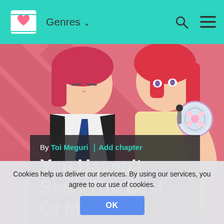Genres
[Figure (illustration): Anime-style illustration of two characters: one with dark hair and tie, another with pink/red hair holding a compact mirror, on a diagonal striped background]
By Toi Meguri | Add chapter
You Haven't Seen The Best Of Me!
Romance
Drama
Cookies help us deliver our services. By using our services, you agree to our use of cookies.
OK